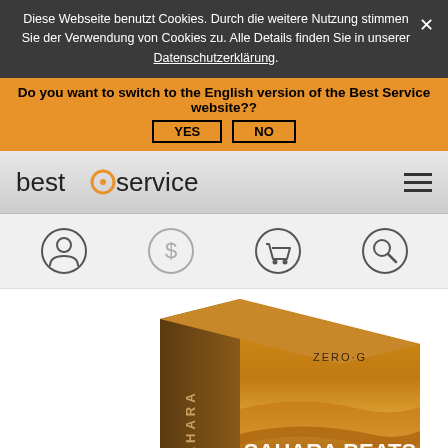Diese Webseite benutzt Cookies. Durch die weitere Nutzung stimmen Sie der Verwendung von Cookies zu. Alle Details finden Sie in unserer Datenschutzerklärung.
Do you want to switch to the English version of the Best Service website?? YES  NO
[Figure (logo): best service logo with orange circle]
[Figure (illustration): Four circular icons: user/account, dollar sign, shopping cart, search/magnifying glass]
[Figure (photo): Sahara Beats product box by Zero-G showing desert sand dunes background with text SAHARA BEATS RHYTHMS OF THE SANDS]